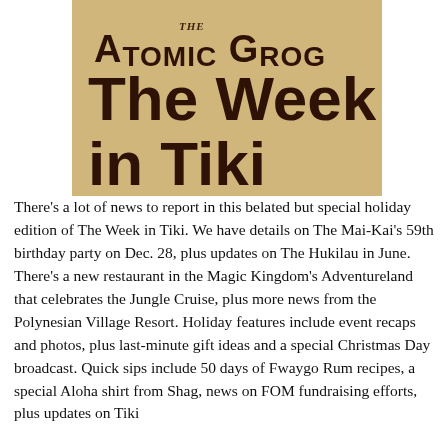[Figure (logo): The Atomic Grog logo with text 'The Week in Tiki' on a tan/parchment background]
There's a lot of news to report in this belated but special holiday edition of The Week in Tiki. We have details on The Mai-Kai's 59th birthday party on Dec. 28, plus updates on The Hukilau in June. There's a new restaurant in the Magic Kingdom's Adventureland that celebrates the Jungle Cruise, plus more news from the Polynesian Village Resort. Holiday features include event recaps and photos, plus last-minute gift ideas and a special Christmas Day broadcast. Quick sips include 50 days of Fwaygo Rum recipes, a special Aloha shirt from Shag, news on FOM fundraising efforts, plus updates on Tiki